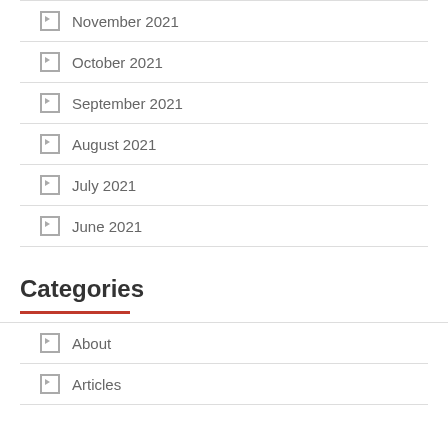November 2021
October 2021
September 2021
August 2021
July 2021
June 2021
Categories
About
Articles